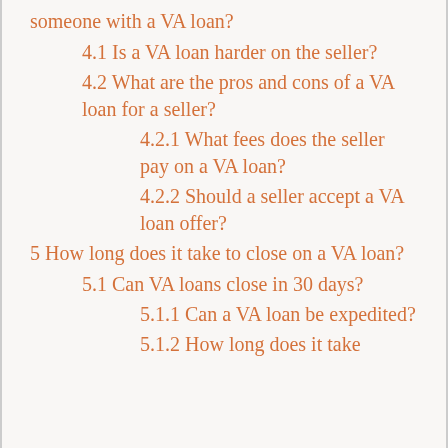someone with a VA loan?
4.1 Is a VA loan harder on the seller?
4.2 What are the pros and cons of a VA loan for a seller?
4.2.1 What fees does the seller pay on a VA loan?
4.2.2 Should a seller accept a VA loan offer?
5 How long does it take to close on a VA loan?
5.1 Can VA loans close in 30 days?
5.1.1 Can a VA loan be expedited?
5.1.2 How long does it take